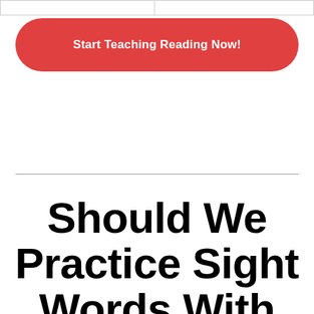Start Teaching Reading Now!
Should We Practice Sight Words With Preschoolers?